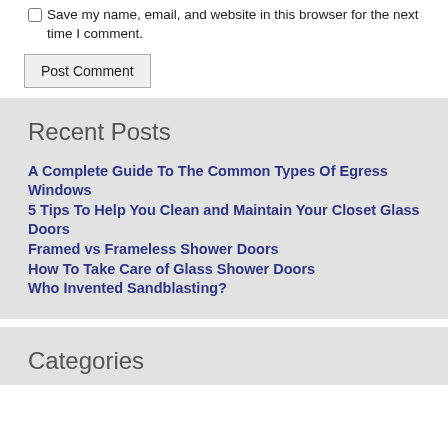Save my name, email, and website in this browser for the next time I comment.
Post Comment
Recent Posts
A Complete Guide To The Common Types Of Egress Windows
5 Tips To Help You Clean and Maintain Your Closet Glass Doors
Framed vs Frameless Shower Doors
How To Take Care of Glass Shower Doors
Who Invented Sandblasting?
Categories